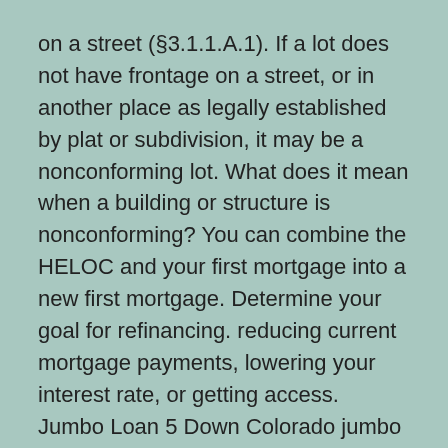on a street (§3.1.1.A.1). If a lot does not have frontage on a street, or in another place as legally established by plat or subdivision, it may be a nonconforming lot. What does it mean when a building or structure is nonconforming? You can combine the HELOC and your first mortgage into a new first mortgage. Determine your goal for refinancing. reducing current mortgage payments, lowering your interest rate, or getting access. Jumbo Loan 5 Down Colorado jumbo home loans – 5% Down Jumbo Mortgages – Looking for a Colorado Jumbo Mortgage loans & Guidelines in Colorado? We offer many low 5 down payment Jumbo loan.
The Orange County VA loan limit is $726,525 which is the same as the conforming loan limit for a single-family home. 2019 California Conforming Loan Limits by County "1 unit" refers to a single-family home. "2 unit" refers to a...